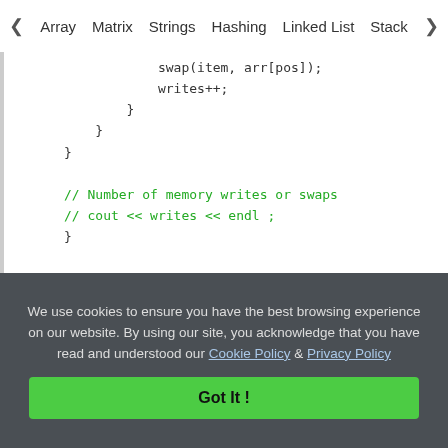< Array   Matrix   Strings   Hashing   Linked List   Stack >
swap(item, arr[pos]);
            writes++;
        }
    }
}

// Number of memory writes or swaps
// cout << writes << endl ;
}

// Driver program to test above function
int main()
{
    int arr[] = { 1, 8, 3, 9, 10, 10, 2, 4
    int n = sizeof(arr) / sizeof(arr[0]);
We use cookies to ensure you have the best browsing experience on our website. By using our site, you acknowledge that you have read and understood our Cookie Policy & Privacy Policy
Got It !